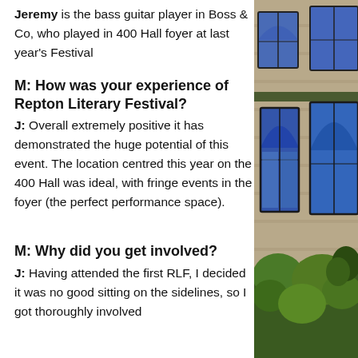Jeremy is the bass guitar player in Boss & Co, who played in 400 Hall foyer at last year's Festival
M: How was your experience of Repton Literary Festival?
J: Overall extremely positive it has demonstrated the huge potential of this event. The location centred this year on the 400 Hall was ideal, with fringe events in the foyer (the perfect performance space).
M: Why did you get involved?
J: Having attended the first RLF, I decided it was no good sitting on the sidelines, so I got thoroughly involved
[Figure (photo): A stone building with arched windows featuring blue stained glass, surrounded by trimmed green shrubs and trees]